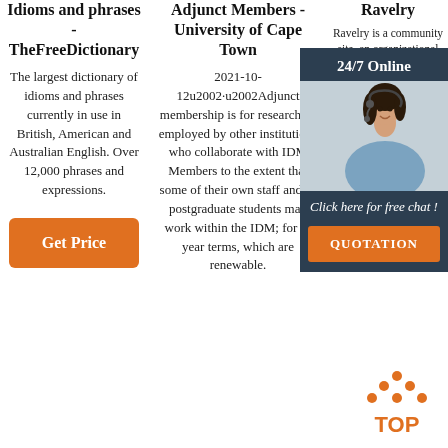Idioms and phrases - TheFreeDictionary
The largest dictionary of idioms and phrases currently in use in British, American and Australian English. Over 12,000 phrases and expressions.
[Figure (other): Orange 'Get Price' button]
Adjunct Members - University of Cape Town
2021-10-12u2002·u2002Adjunct membership is for researchers employed by other institutions who collaborate with IDM Members to the extent that some of their own staff and/or postgraduate students may work within the IDM; for 3-year terms, which are renewable.
Ravelry
Ravelry is a community site, an organizational tool, and pattern knitting cro
[Figure (other): 24/7 Online chat widget with photo of woman wearing headset, 'Click here for free chat!' text, and QUOTATION button]
[Figure (logo): TOP logo with orange triangle dots above the word TOP in orange]